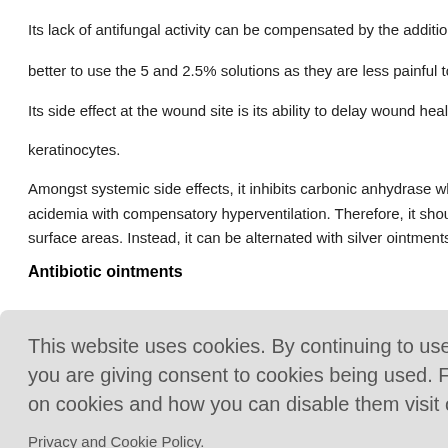Its lack of antifungal activity can be compensated by the addition of nystatin. For s... better to use the 5 and 2.5% solutions as they are less painful to apply.[30]
Its side effect at the wound site is its ability to delay wound healing as it inh... keratinocytes.
Amongst systemic side effects, it inhibits carbonic anhydrase which can lead... acidemia with compensatory hyperventilation. Therefore, it should not be used... surface areas. Instead, it can be alternated with silver ointments for large burns.
Antibiotic ointments
...e of which t... use of this,... layer of ointm...
This website uses cookies. By continuing to use this website you are giving consent to cookies being used. For information on cookies and how you can disable them visit our Privacy and Cookie Policy. AGREE & PROCEED
...ly Gram-po... as it may le... l burns.
Mupirocin